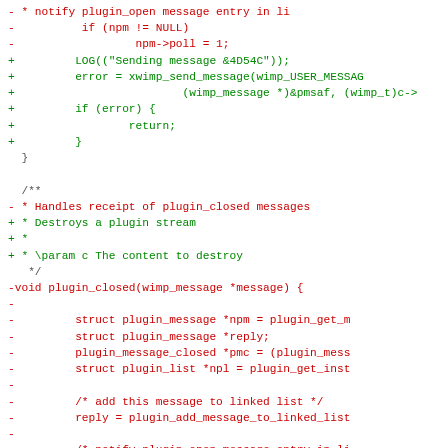[Figure (other): A code diff view showing removed lines (red, prefixed with '-') and added lines (green, prefixed with '+'). Content includes changes to plugin_closed function and surrounding code.]